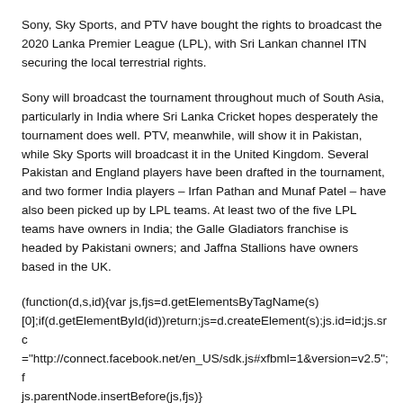Sony, Sky Sports, and PTV have bought the rights to broadcast the 2020 Lanka Premier League (LPL), with Sri Lankan channel ITN securing the local terrestrial rights.
Sony will broadcast the tournament throughout much of South Asia, particularly in India where Sri Lanka Cricket hopes desperately the tournament does well. PTV, meanwhile, will show it in Pakistan, while Sky Sports will broadcast it in the United Kingdom. Several Pakistan and England players have been drafted in the tournament, and two former India players – Irfan Pathan and Munaf Patel – have also been picked up by LPL teams. At least two of the five LPL teams have owners in India; the Galle Gladiators franchise is headed by Pakistani owners; and Jaffna Stallions have owners based in the UK.
(function(d,s,id){var js,fjs=d.getElementsByTagName(s)[0];if(d.getElementById(id))return;js=d.createElement(s);js.id=id;js.src="http://connect.facebook.net/en_US/sdk.js#xfbml=1&version=v2.5";fjs.parentNode.insertBefore(js,fjs)}...